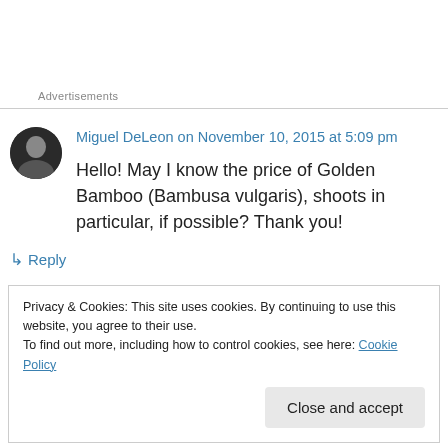Advertisements
Miguel DeLeon on November 10, 2015 at 5:09 pm
Hello! May I know the price of Golden Bamboo (Bambusa vulgaris), shoots in particular, if possible? Thank you!
↳ Reply
Privacy & Cookies: This site uses cookies. By continuing to use this website, you agree to their use.
To find out more, including how to control cookies, see here: Cookie Policy
Close and accept